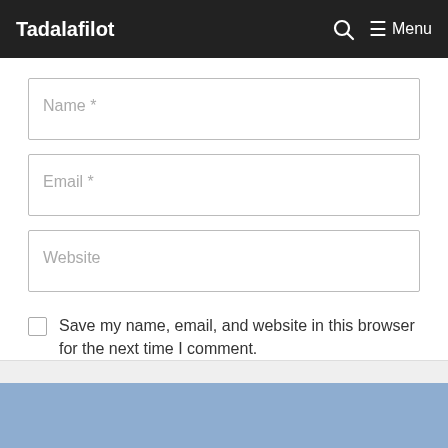Tadalafilot  Menu
Name *
Email *
Website
Save my name, email, and website in this browser for the next time I comment.
Post Comment